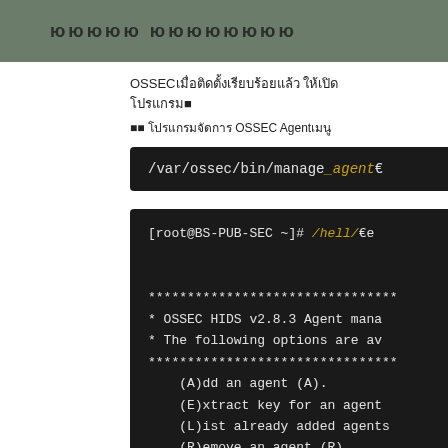ΝΝΝΝ ΝΝΝΝΝΝΝΝ
OSSEC เมื่อติดตั้งเรียบร้อยแล้ว ให้เปิดโปรแกรม
จาก โปรแกรมจัดการ OSSEC Agent
[Figure (screenshot): Terminal command: /var/ossec/bin/manage_agents]
[Figure (screenshot): Terminal output showing OSSEC HIDS v2.8.3 Agent manager with options: (A)dd an agent (A), (E)xtract key for an agent, (L)ist already added agents, (R)emove an agent (R), (Q)uit]